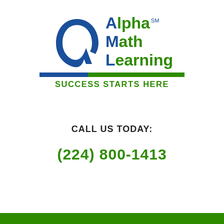[Figure (logo): Alpha Math Learning logo with blue alpha symbol, green text 'Alpha Math Learning' with SM mark, blue and green horizontal divider bar, and green tagline 'SUCCESS STARTS HERE']
CALL US TODAY:
(224) 800-1413